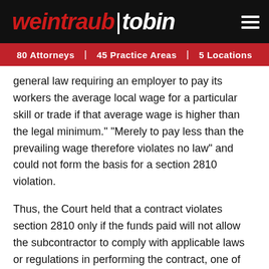weintraub | tobin — 80 Attorneys | 45 Practice Areas | 5 Locations
general law requiring an employer to pay its workers the average local wage for a particular skill or trade if that average wage is higher than the legal minimum." "Merely to pay less than the prevailing wage therefore violates no law" and could not form the basis for a section 2810 violation.
Thus, the Court held that a contract violates section 2810 only if the funds paid will not allow the subcontractor to comply with applicable laws or regulations in performing the contract, one of those applicable laws being the minimum wage law. The Court also rejected the plaintiffs' argument that they should be treated differently given that the construction industry regularly pays higher wages than the legal minimum wage. The